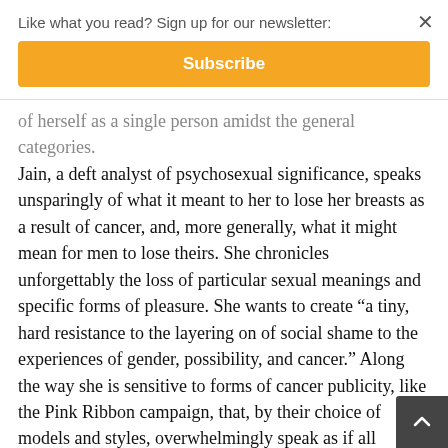Like what you read? Sign up for our newsletter:
Subscribe
of herself as a single person amidst the general categories. Jain, a deft analyst of psychosexual significance, speaks unsparingly of what it meant to her to lose her breasts as a result of cancer, and, more generally, what it might mean for men to lose theirs. She chronicles unforgettably the loss of particular sexual meanings and specific forms of pleasure. She wants to create “a tiny, hard resistance to the layering on of social shame to the experiences of gender, possibility, and cancer.” Along the way she is sensitive to forms of cancer publicity, like the Pink Ribbon campaign, that, by their choice of models and styles, overwhelmingly speak as if all women and girls were heterosexual.
    Malignant’s structure powerfully replicates the uncertainty, hesitation, and delay of the person who is diagnosed and treated for cancer, and who will forever be at